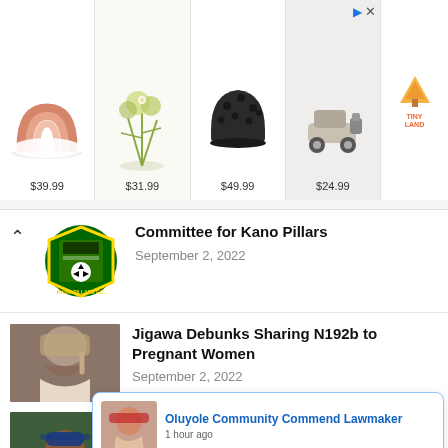[Figure (screenshot): Advertisement banner with 4 product images and prices: rainbow plate $39.99, floral arrangement $31.99, black helmet $49.99, toy car $24.99, with Tiny Land logo]
Committee for Kano Pillars
September 2, 2022
Jigawa Debunks Sharing N192b to Pregnant Women
September 2, 2022
Oyo Creates Awareness Among Civil Servants on Tourism Values
Oluyole Community Commend Lawmaker
1 hour ago
September to Remember